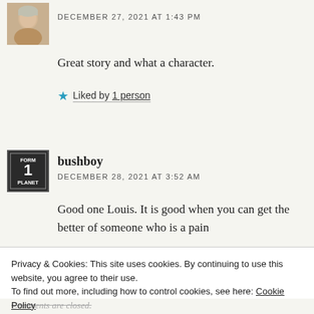[Figure (photo): Small avatar photo of a person, appears to be a woman with light hair]
DECEMBER 27, 2021 AT 1:43 PM
Great story and what a character.
Liked by 1 person
[Figure (photo): Road sign avatar showing FORM 1 PLANET text on dark background]
bushboy
DECEMBER 28, 2021 AT 3:52 AM
Good one Louis. It is good when you can get the better of someone who is a pain
Privacy & Cookies: This site uses cookies. By continuing to use this website, you agree to their use.
To find out more, including how to control cookies, see here: Cookie Policy
Close and accept
Comments are closed.